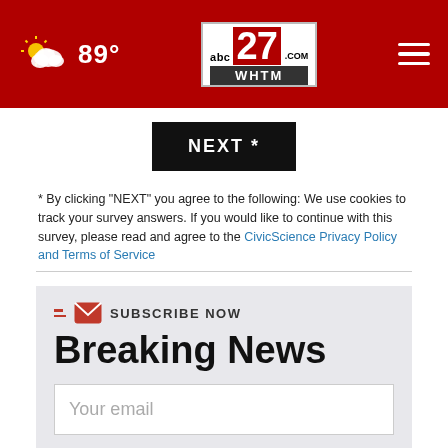abc27 WHTM.COM — 89° weather — navigation menu
NEXT *
* By clicking "NEXT" you agree to the following: We use cookies to track your survey answers. If you would like to continue with this survey, please read and agree to the CivicScience Privacy Policy and Terms of Service
SUBSCRIBE NOW — Breaking News — Your email
[Figure (screenshot): DiscovertheForest.org advertisement banner with forest imagery, ad council and US Forest Service badges]